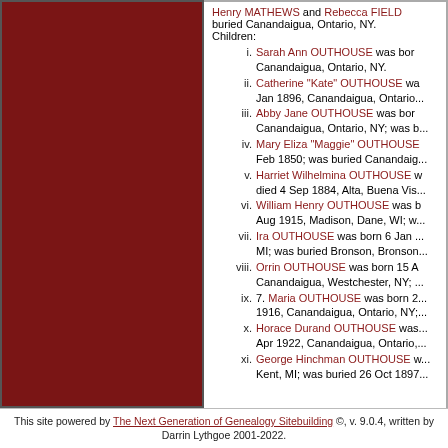Henry MATHEWS and Rebecca FIELD; buried Canandaigua, Ontario, NY. Children:
i. Sarah Ann OUTHOUSE was born ... Canandaigua, Ontario, NY.
ii. Catherine "Kate" OUTHOUSE wa... Jan 1896, Canandaigua, Ontario...
iii. Abby Jane OUTHOUSE was bor... Canandaigua, Ontario, NY; was b...
iv. Mary Eliza "Maggie" OUTHOUSE... Feb 1850; was buried Canandaig...
v. Harriet Wilhelmina OUTHOUSE w... died 4 Sep 1884, Alta, Buena Vis...
vi. William Henry OUTHOUSE was b... Aug 1915, Madison, Dane, WI; w...
vii. Ira OUTHOUSE was born 6 Jan ... MI; was buried Bronson, Bronson...
viii. Orrin OUTHOUSE was born 15 A... Canandaigua, Westchester, NY; ...
ix. 7. Maria OUTHOUSE was born 2... 1916, Canandaigua, Ontario, NY;...
x. Horace Durand OUTHOUSE was... Apr 1922, Canandaigua, Ontario,...
xi. George Hinchman OUTHOUSE w... Kent, MI; was buried 26 Oct 1897...
This site powered by The Next Generation of Genealogy Sitebuilding ©, v. 9.0.4, written by Darrin Lythgoe 2001-2022.